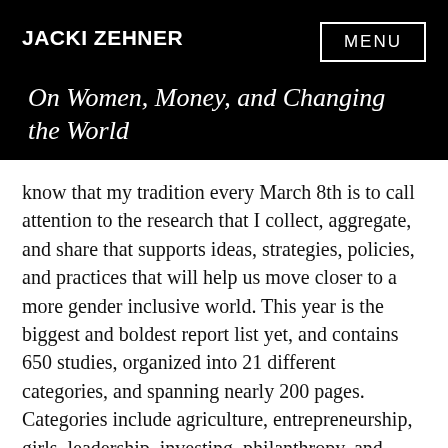JACKI ZEHNER
On Women, Money, and Changing the World
know that my tradition every March 8th is to call attention to the research that I collect, aggregate, and share that supports ideas, strategies, policies, and practices that will help us move closer to a more gender inclusive world. This year is the biggest and boldest report list yet, and contains 650 studies, organized into 21 different categories, and spanning nearly 200 pages. Categories include agriculture, entrepreneurship, girls, leadership, investing, philanthropy, and much more. You can download